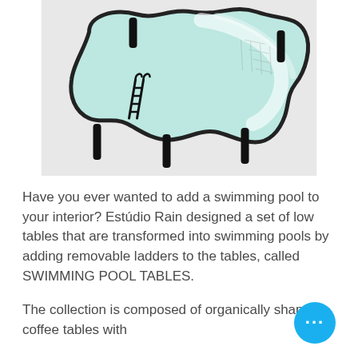[Figure (photo): A swimming pool-shaped glass coffee table with black wavy edges and black legs, photographed from above on a white surface. A miniature pool ladder accessory is attached to the side of the table.]
Have you ever wanted to add a swimming pool to your interior? Estúdio Rain designed a set of low tables that are transformed into swimming pools by adding removable ladders to the tables, called SWIMMING POOL TABLES.
The collection is composed of organically shaped coffee tables with